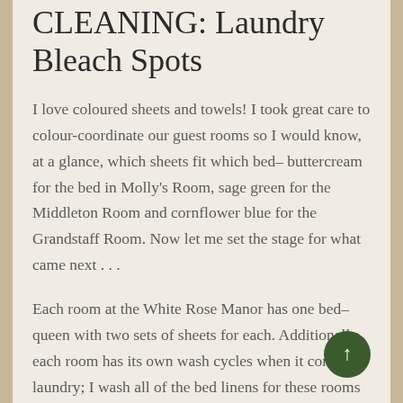CLEANING: Laundry Bleach Spots
I love coloured sheets and towels! I took great care to colour-coordinate our guest rooms so I would know, at a glance, which sheets fit which bed– buttercream for the bed in Molly's Room, sage green for the Middleton Room and cornflower blue for the Grandstaff Room. Now let me set the stage for what came next . . .
Each room at the White Rose Manor has one bed– queen with two sets of sheets for each. Additionally, each room has its own wash cycles when it comes to laundry; I wash all of the bed linens for these rooms separate loads, no combined loads. Also, I do not use bleach. You can imagine my frustration when my